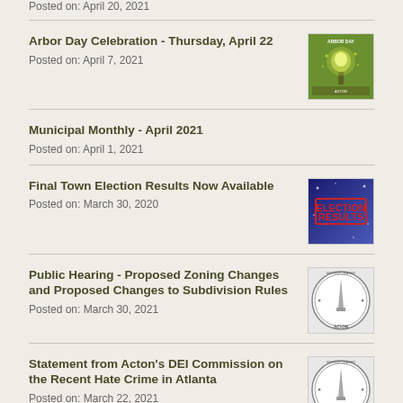Posted on: April 20, 2021
Arbor Day Celebration - Thursday, April 22
Posted on: April 7, 2021
[Figure (illustration): Arbor Day green poster with glowing tree]
Municipal Monthly - April 2021
Posted on: April 1, 2021
Final Town Election Results Now Available
Posted on: March 30, 2020
[Figure (illustration): Election Results stamp graphic on blue background]
Public Hearing - Proposed Zoning Changes and Proposed Changes to Subdivision Rules
Posted on: March 30, 2021
[Figure (logo): Acton town seal circular logo]
Statement from Acton's DEI Commission on the Recent Hate Crime in Atlanta
Posted on: March 22, 2021
[Figure (logo): Acton town seal circular logo]